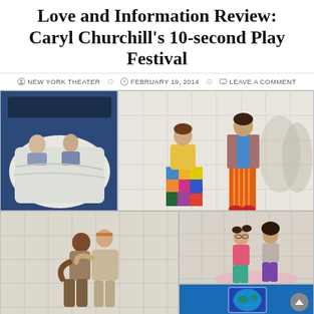Love and Information Review: Caryl Churchill's 10-second Play Festival
NEW YORK THEATER   FEBRUARY 19, 2014   LEAVE A COMMENT
[Figure (photo): Two figures lying in bed under white covers against a dark blue background, aerial view]
[Figure (photo): Two performers in colorful costumes on a white tiled stage set — woman in patchwork dress, man in orange striped pants and blue shirt]
[Figure (photo): Two performers embracing on a white tiled stage set — one in beige outfit, one in tan clothes with headband]
[Figure (photo): Two young women sitting on a pink cloth on a white tiled stage — one in pink top and teal pants, one in gray]
[Figure (photo): Partial view of blue stage set with illuminated box showing an image of a globe]